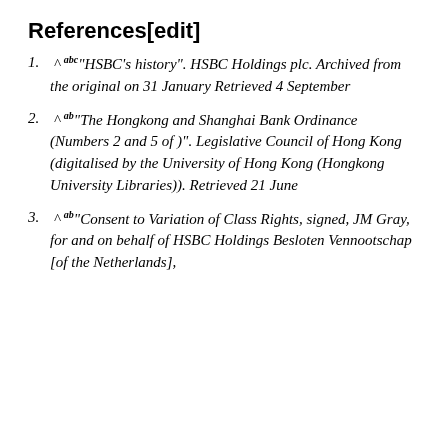References[edit]
^ abc "HSBC's history". HSBC Holdings plc. Archived from the original on 31 January Retrieved 4 September
^ ab "The Hongkong and Shanghai Bank Ordinance (Numbers 2 and 5 of )". Legislative Council of Hong Kong (digitalised by the University of Hong Kong (Hongkong University Libraries)). Retrieved 21 June
^ ab "Consent to Variation of Class Rights, signed, JM Gray, for and on behalf of HSBC Holdings Besloten Vennootschap [of the Netherlands],